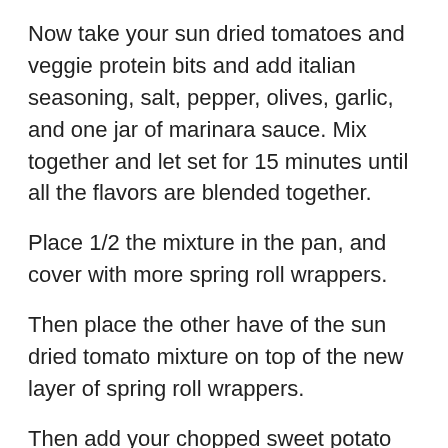Now take your sun dried tomatoes and veggie protein bits and add italian seasoning, salt, pepper, olives, garlic, and one jar of marinara sauce. Mix together and let set for 15 minutes until all the flavors are blended together.
Place 1/2 the mixture in the pan, and cover with more spring roll wrappers.
Then place the other have of the sun dried tomato mixture on top of the new layer of spring roll wrappers.
Then add your chopped sweet potato leaves, and add some additional salt, pepper, and italian seasoning over the sweet potato leaves.
Next add another layer of spring roll wrappers and pour on another jar of marinara sauce on top.